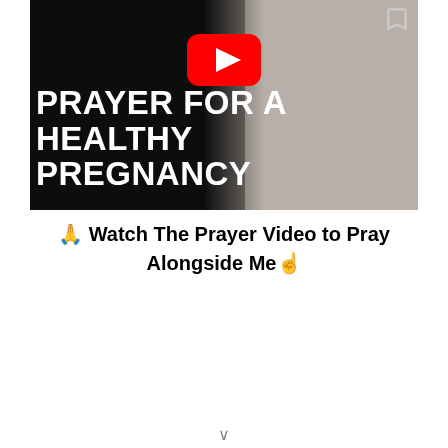[Figure (screenshot): YouTube video thumbnail for 'Prayer for a Healthy Pregnancy' showing a dark background on the left with a person's hands and a grey/beige background on the right, with a large red YouTube play button centered at the top and bold white uppercase text reading 'PRAYER FOR A HEALTHY PREGNANCY']
🙏 Watch The Prayer Video to Pray Alongside Me☝